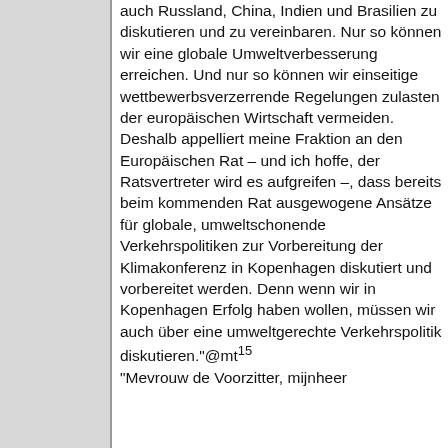auch Russland, China, Indien und Brasilien zu diskutieren und zu vereinbaren. Nur so können wir eine globale Umweltverbesserung erreichen. Und nur so können wir einseitige wettbewerbsverzerrende Regelungen zulasten der europäischen Wirtschaft vermeiden. Deshalb appelliert meine Fraktion an den Europäischen Rat – und ich hoffe, der Ratsvertreter wird es aufgreifen –, dass bereits beim kommenden Rat ausgewogene Ansätze für globale, umweltschonende Verkehrspolitiken zur Vorbereitung der Klimakonferenz in Kopenhagen diskutiert und vorbereitet werden. Denn wenn wir in Kopenhagen Erfolg haben wollen, müssen wir auch über eine umweltgerechte Verkehrspolitik diskutieren."@mt¹⁵
"Mevrouw de Voorzitter, mijnheer